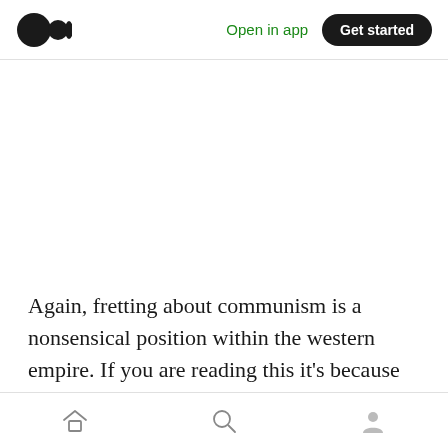[Figure (logo): Medium logo — two overlapping circles (one solid black, one with cutout) forming the Medium wordmark icon]
Open in app   Get started
Again, fretting about communism is a nonsensical position within the western empire. If you are reading this it's because you speak English, and if you speak English it's likely because you live in an English-speaking nation,
Home  Search  Profile